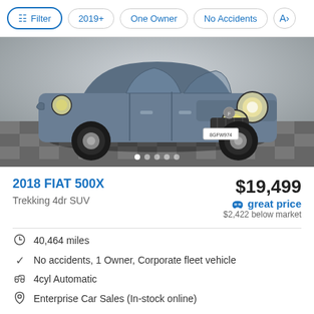Filter | 2019+ | One Owner | No Accidents | A>
[Figure (photo): Blue 2018 Fiat 500X Trekking 4dr SUV on a checkered floor showroom backdrop, license plate 8GFW974, with image carousel dots below]
2018 FIAT 500X
Trekking 4dr SUV
$19,499
great price
$2,422 below market
40,464 miles
No accidents, 1 Owner, Corporate fleet vehicle
4cyl Automatic
Enterprise Car Sales (In-stock online)